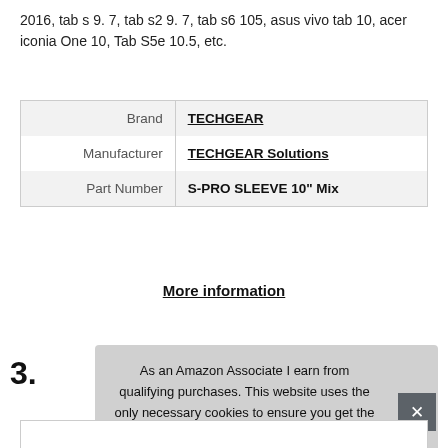2016, tab s 9. 7, tab s2 9. 7, tab s6 105, asus vivo tab 10, acer iconia One 10, Tab S5e 10.5, etc.
|  |  |
| --- | --- |
| Brand | TECHGEAR |
| Manufacturer | TECHGEAR Solutions |
| Part Number | S-PRO SLEEVE 10" Mix |
More information
3.
As an Amazon Associate I earn from qualifying purchases. This website uses the only necessary cookies to ensure you get the best experience on our website. More information